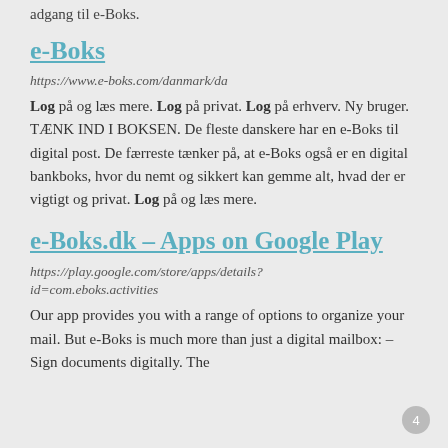adgang til e-Boks.
e-Boks
https://www.e-boks.com/danmark/da
Log på og læs mere. Log på privat. Log på erhverv. Ny bruger. TÆNK IND I BOKSEN. De fleste danskere har en e-Boks til digital post. De færreste tænker på, at e-Boks også er en digital bankboks, hvor du nemt og sikkert kan gemme alt, hvad der er vigtigt og privat. Log på og læs mere.
e-Boks.dk – Apps on Google Play
https://play.google.com/store/apps/details? id=com.eboks.activities
Our app provides you with a range of options to organize your mail. But e-Boks is much more than just a digital mailbox: – Sign documents digitally. The